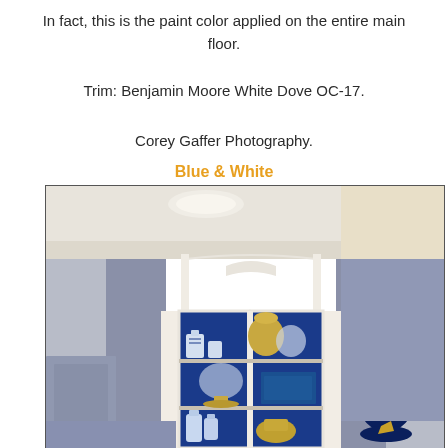In fact, this is the paint color applied on the entire main floor.
Trim: Benjamin Moore White Dove OC-17.
Corey Gaffer Photography.
Blue & White
[Figure (photo): Interior photo showing a white built-in display cabinet with glass doors, blue interior back panel, blue and white ceramic vases and decorative items on shelves, with a large blue ceramic lamp with cream shade in the foreground right.]